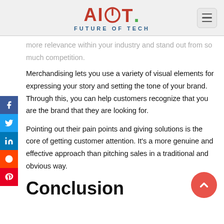AIIOT. FUTURE OF TECH
more relevance within your industry and stand out from so much competition.
Merchandising lets you use a variety of visual elements for expressing your story and setting the tone of your brand. Through this, you can help customers recognize that you are the brand that they are looking for.
Pointing out their pain points and giving solutions is the core of getting customer attention. It’s a more genuine and effective approach than pitching sales in a traditional and obvious way.
Conclusion